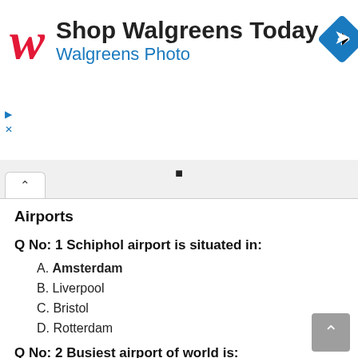[Figure (other): Walgreens advertisement banner with red W logo, text 'Shop Walgreens Today' and 'Walgreens Photo', and a blue diamond navigation arrow icon on the right.]
Airports
Q No: 1 Schiphol airport is situated in:
A. Amsterdam
B. Liverpool
C. Bristol
D. Rotterdam
Q No: 2 Busiest airport of world is:
A. Sheefal
B. O'Hare